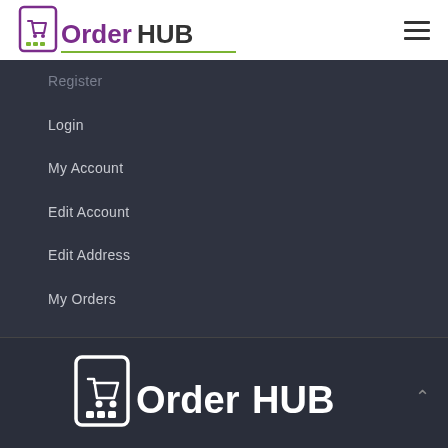[Figure (logo): OrderHUB logo with shopping cart icon in purple and green on white header bar]
Register
Login
My Account
Edit Account
Edit Address
My Orders
Lost Password
Logout
[Figure (logo): OrderHUB logo in white on dark footer background]